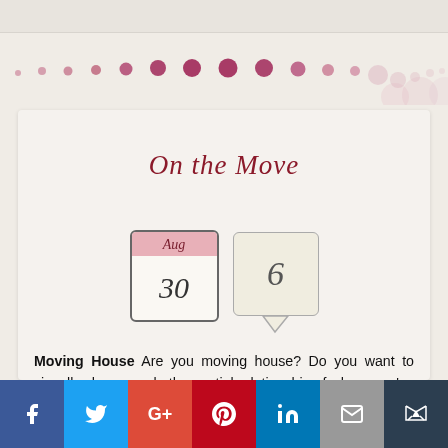[Figure (illustration): Decorative dots row in pink/rose tones, varying sizes, arranged horizontally across the page]
On the Move
[Figure (illustration): Two icons: a calendar showing Aug 30, and a speech bubble showing the number 6]
Moving House Are you moving house? Do you want to visually show people the spatial relationship of where you've moved from and where you've gone to? We've had a major removal company take our Mail-It Maps!
[Figure (infographic): Social media sharing bar with Facebook, Twitter, Google+, Pinterest, LinkedIn, Email, and crown icon buttons]